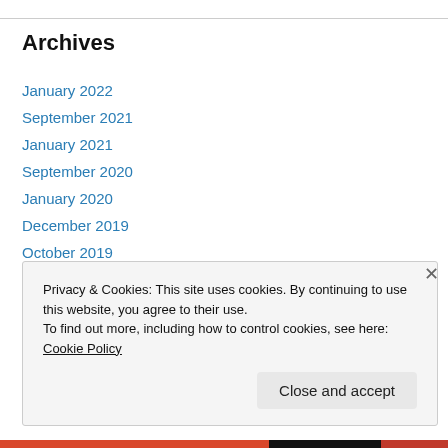Archives
January 2022
September 2021
January 2021
September 2020
January 2020
December 2019
October 2019
August 2019
July 2019
June 2019
Privacy & Cookies: This site uses cookies. By continuing to use this website, you agree to their use.
To find out more, including how to control cookies, see here: Cookie Policy
Close and accept